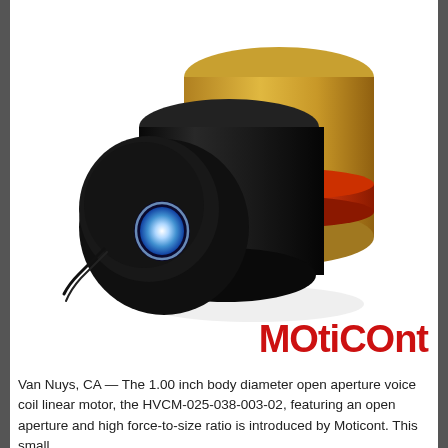[Figure (photo): Photo of a cylindrical voice coil linear motor (HVCM-025-038-003-02) with a gold-colored outer casing, black end cap with a glowing blue/white aperture (open hole), and a red/orange winding visible between the sections. The device is shown at an angle on a white background.]
[Figure (logo): Moticont company logo in red lowercase letters: 'MOtiCOnt']
Van Nuys, CA — The 1.00 inch body diameter open aperture voice coil linear motor, the HVCM-025-038-003-02, featuring an open aperture and high force-to-size ratio is introduced by Moticont. This small